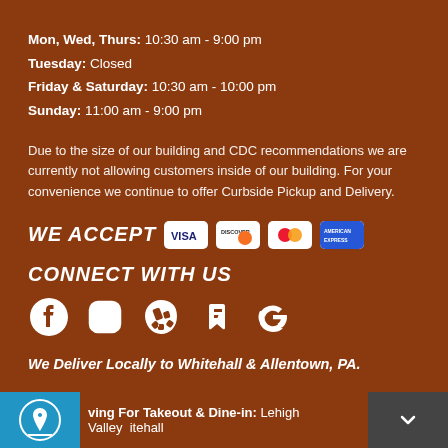Mon, Wed, Thurs: 10:30 am - 9:00 pm
Tuesday: Closed
Friday & Saturday: 10:30 am - 10:00 pm
Sunday: 11:00 am - 9:00 pm
Due to the size of our building and CDC recommendations we are currently not allowing customers inside of our building. For your convenience we continue to offer Curbside Pickup and Delivery.
WE ACCEPT
[Figure (logo): Payment card logos: Visa, Discover, Mastercard, American Express]
CONNECT WITH US
[Figure (infographic): Social media icons: Facebook, Instagram, Yelp, Foursquare, Google]
We Deliver Locally to Whitehall & Allentown, PA.
Serving For Takeout & Dine-in: Lehigh Valley Whitehall